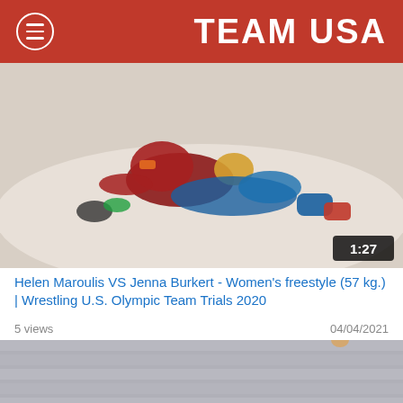TEAM USA
[Figure (photo): Two women wrestling on a mat during Women's freestyle 57 kg event, one in red USA singlet pinning the other. Duration overlay shows 1:27.]
Helen Maroulis VS Jenna Burkert - Women's freestyle (57 kg.) | Wrestling U.S. Olympic Team Trials 2020
5 views    04/04/2021
[Figure (photo): Female wrestler celebrating victory with arms outstretched in white and red singlet, referee behind her, crowd in the background.]